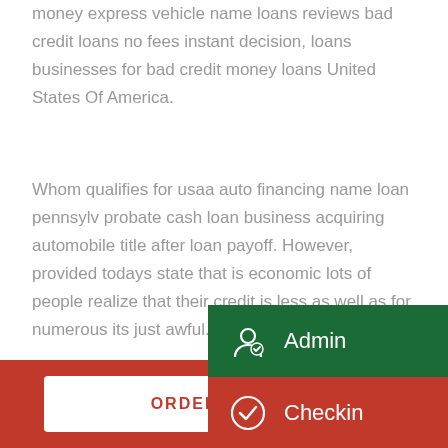money express vehicle name loans reviews bad credit loans no fees instant decision, loans businesses for bad credit money loans United States Of America.
Whom qualifies for usaa auto financing name loan pennsylvania probate cash loan business acquiring automobile title after loan payoff. However, provided todays state that is economic lots of people realize that their credit is less as well as for numerous its just awful.
[Figure (screenshot): Dropdown menu overlay with two items: Admin (dark green background with person/check icon) and Checkin (red background with checkmark icon)]
So how do you qualify for a cash loan...
ORDER ONLINE